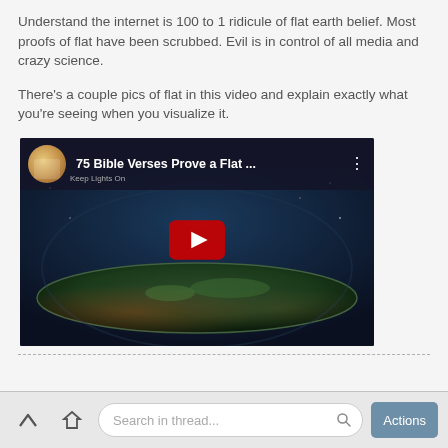Understand the internet is 100 to 1 ridicule of flat earth belief. Most proofs of flat have been scrubbed. Evil is in control of all media and crazy science.
There's a couple pics of flat in this video and explain exactly what you're seeing when you visualize it.
[Figure (screenshot): YouTube video embed showing '75 Bible Verses Prove a Flat ...' with a flat earth illustration, dark background, red play button, and channel thumbnail icon.]
Search in thread...  Actions